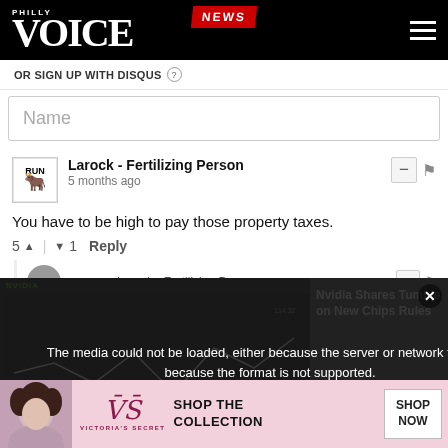PHILLY VOICE | NEWS
OR SIGN UP WITH DISQUS ?
Name
Larock - Fertilizing Person
5 months ago
You have to be high to pay those property taxes.
5 ^ | v 1  Reply
Trips → Larock - Fertilizing Person
[Figure (screenshot): Media error overlay: 'The media could not be loaded, either because the server or network failed or because the format is not supported.' over NVIDIA stock chart with headline 'Nvidia Shares Tumble on New Chips Rules']
3. ME
4. V
5. M
6. N
[Figure (screenshot): Victoria's Secret advertisement banner: SHOP THE COLLECTION with SHOP NOW button]